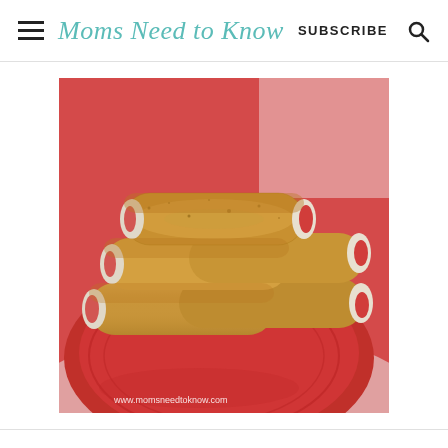Moms Need to Know | SUBSCRIBE
[Figure (photo): Rolled French toast sticks filled with strawberry jam, dusted with cinnamon sugar, stacked on a red plate. Watermark reads www.momsneedtoknow.com]